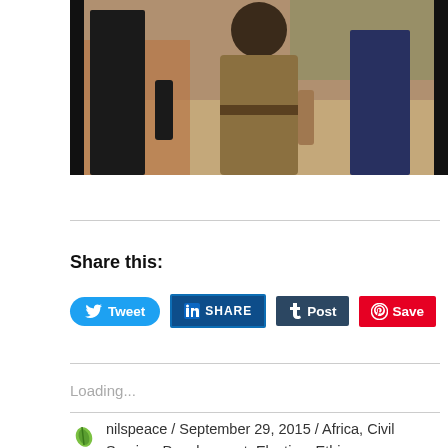[Figure (photo): Outdoor scene showing three figures walking on a dirt path, one in dark clothing on the left, one in olive/khaki in the center, one in dark trousers on the right. Background shows red/brown earthen walls and vegetation.]
Share this:
Tweet  SHARE  Post  Save
Loading...
nilspeace / September 29, 2015 / Africa, Civil Service, Development, Election, Ethics, Governance, Government, Law, Politics / Arrest, CPS, EC, Electoral